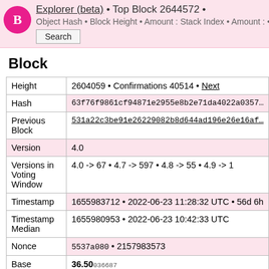Explorer (beta) • Top Block 2644572 • Object Hash • Block Height • Amount : Stack Index • Amount : • Send Search
Block
|  |  |
| --- | --- |
| Height | 2604059 • Confirmations 40514 • Next |
| Hash | 63f76f9861cf94871e2955e8b2e71da4022a0357... |
| Previous Block | 531a22c3be91e26229082b8d644ad196e26e16af... |
| Version | 4.0 |
| Versions in Voting Window | 4.0 -> 67 • 4.7 -> 597 • 4.8 -> 55 • 4.9 -> 1 |
| Timestamp | 1655983712 • 2022-06-23 11:28:32 UTC • 56d 6h |
| Timestamp Median | 1655980953 • 2022-06-23 10:42:33 UTC |
| Nonce | 5537a080 • 2157983573 |
| Base Reward | 36.50036687 |